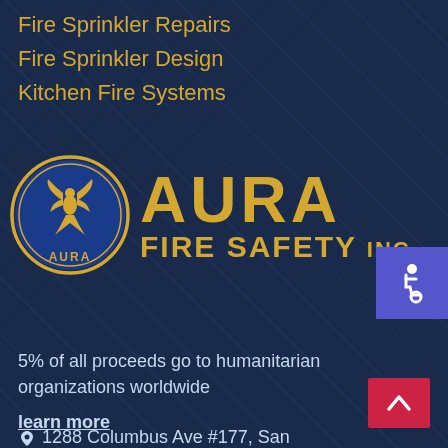Fire Sprinkler Repairs
Fire Sprinkler Design
Kitchen Fire Systems
[Figure (logo): Aura Fire Safety Inc logo with phoenix emblem in blue circle and gold text reading AURA FIRE SAFETY INC]
5% of all proceeds go to humanitarian organizations worldwide
learn more
1288 Columbus Ave #177, San